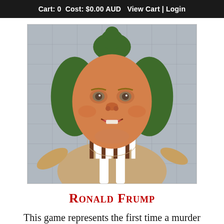Cart: 0 Cost: $0.00 AUD View Cart | Login
[Figure (photo): A composite photo of a person's face (resembling a well-known figure) merged onto an Oompa Loompa character body from Willy Wonka, wearing a striped brown and white costume with green hair.]
Ronald Frump
This game represents the first time a murder mystery game was played